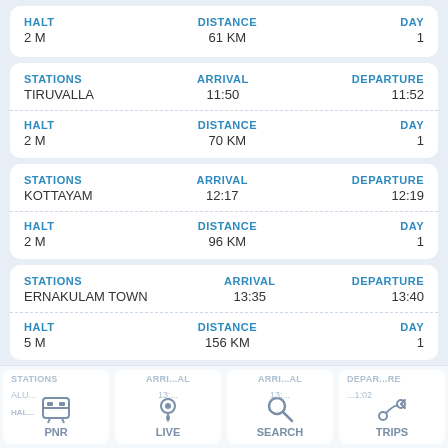| HALT | DISTANCE | DAY |
| --- | --- | --- |
| 2 M | 61 KM | 1 |
| STATIONS | ARRIVAL | DEPARTURE |
| --- | --- | --- |
| TIRUVALLA | 11:50 | 11:52 |
| HALT | DISTANCE | DAY |
| --- | --- | --- |
| 2 M | 70 KM | 1 |
| STATIONS | ARRIVAL | DEPARTURE |
| --- | --- | --- |
| KOTTAYAM | 12:17 | 12:19 |
| HALT | DISTANCE | DAY |
| --- | --- | --- |
| 2 M | 96 KM | 1 |
| STATIONS | ARRIVAL | DEPARTURE |
| --- | --- | --- |
| ERNAKULAM TOWN | 13:35 | 13:40 |
| HALT | DISTANCE | DAY |
| --- | --- | --- |
| 5 M | 156 KM | 1 |
PNR | LIVE | SEARCH | TRIPS